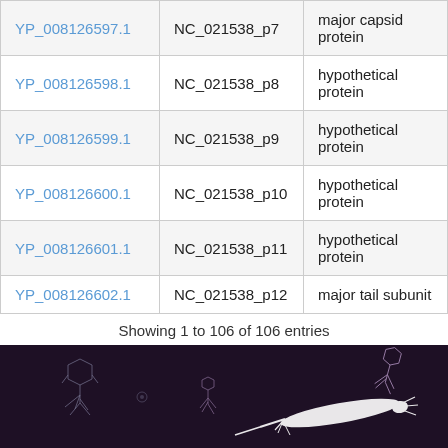|  |  |  |
| --- | --- | --- |
| YP_008126597.1 | NC_021538_p7 | major capsid protein |
| YP_008126598.1 | NC_021538_p8 | hypothetical protein |
| YP_008126599.1 | NC_021538_p9 | hypothetical protein |
| YP_008126600.1 | NC_021538_p10 | hypothetical protein |
| YP_008126601.1 | NC_021538_p11 | hypothetical protein |
| YP_008126602.1 | NC_021538_p12 | major tail subunit |
Showing 1 to 106 of 106 entries
[Figure (illustration): Dark purple/black background with white line drawings of bacteriophage particles in various orientations, including small phage icons and a larger elongated phage illustration on the right.]